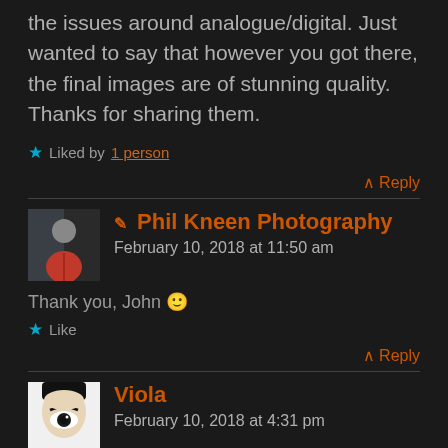the issues around analogue/digital. Just wanted to say that however you got there, the final images are of stunning quality. Thanks for sharing them.
★ Liked by 1 person
∧ Reply
✎ Phil Kneen Photography
February 10, 2018 at 11:50 am
Thank you, John 🙂
★ Like
∧ Reply
Viola
February 10, 2018 at 4:31 pm